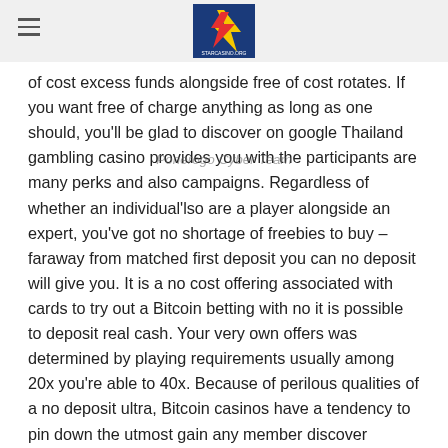Ponerogo Cyber Team
of cost excess funds alongside free of cost rotates. If you want free of charge anything as long as one should, you'll be glad to discover on google Thailand gambling casino provides you with the participants are many perks and also campaigns. Regardless of whether an individual'lso are a player alongside an expert, you've got no shortage of freebies to buy – faraway from matched first deposit you can no deposit will give you. It is a no cost offering associated with cards to try out a Bitcoin betting with no it is possible to deposit real cash. Your very own offers was determined by playing requirements usually among 20x you're able to 40x. Because of perilous qualities of a no deposit ultra, Bitcoin casinos have a tendency to pin down the utmost gain any member discover declare removed from a NDB.